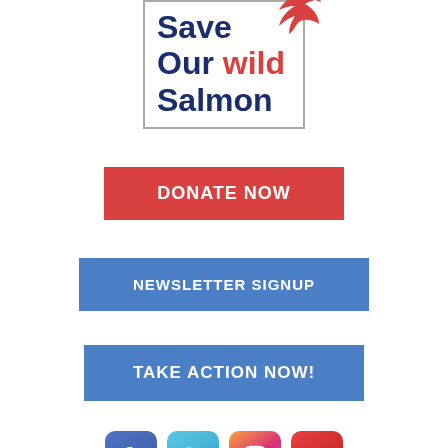[Figure (logo): Save Our wild Salmon logo with red fish icon and bordered box]
DONATE NOW
NEWSLETTER SIGNUP
TAKE ACTION NOW!
[Figure (infographic): Social media icons: Facebook, Twitter, Instagram, YouTube]